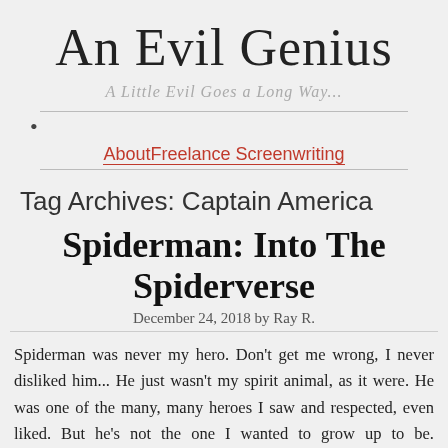An Evil Genius
A Little Evil Goes a Long Way...
About  Freelance Screenwriting
Tag Archives: Captain America
Spiderman: Into The Spiderverse
December 24, 2018 by Ray R.
Spiderman was never my hero. Don't get me wrong, I never disliked him... He just wasn't my spirit animal, as it were. He was one of the many, many heroes I saw and respected, even liked. But he's not the one I wanted to grow up to be. Superman was that guy... Now before you go and get upset thinking I'm in the DC side of that great DC Marvel holy war, I owned and read far more